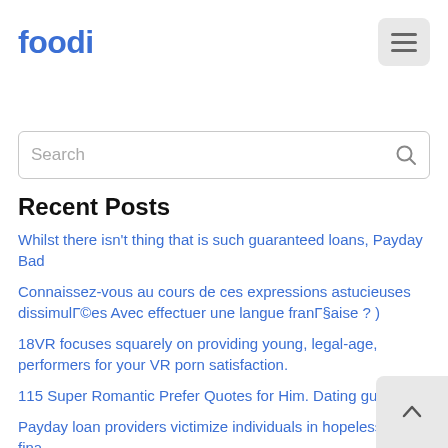foodi
Search
Recent Posts
Whilst there isn't thing that is such guaranteed loans, Payday Bad
Connaissez-vous au cours de ces expressions astucieuses dissimulées Avec effectuer une langue française ? )
18VR focuses squarely on providing young, legal-age, performers for your VR porn satisfaction.
115 Super Romantic Prefer Quotes for Him. Dating guidelin…
Payday loan providers victimize individuals in hopeless fina…… circumstances